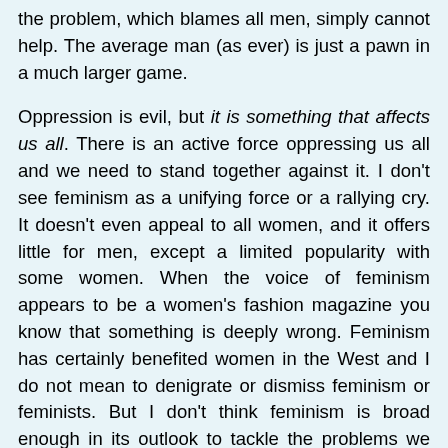the problem, which blames all men, simply cannot help. The average man (as ever) is just a pawn in a much larger game.

Oppression is evil, but it is something that affects us all. There is an active force oppressing us all and we need to stand together against it. I don't see feminism as a unifying force or a rallying cry. It doesn't even appeal to all women, and it offers little for men, except a limited popularity with some women. When the voice of feminism appears to be a women's fashion magazine you know that something is deeply wrong. Feminism has certainly benefited women in the West and I do not mean to denigrate or dismiss feminism or feminists. But I don't think feminism is broad enough in its outlook to tackle the problems we face today or that the feminist view of history is productive of solutions for the broader problems of inequality and the capture of wealth and power by the modern day aristocrats. For example, what is the feminist response to climate change? Even if you removed all men from the equation, the women of the 1% would carry on regardless, because their values are not shared with feminists. We need to claw power back through laws that ensure good citizenship on the part of business